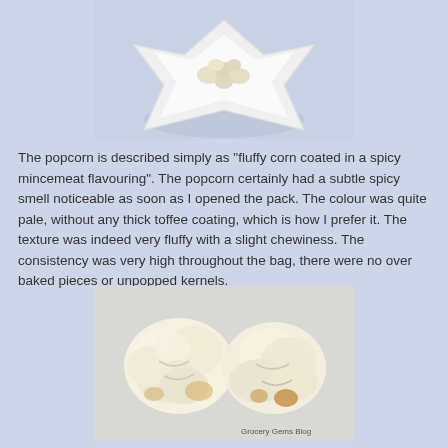[Figure (photo): Top-cropped photo of a white star-shaped dish containing popcorn pieces, on a light blue-grey background]
The popcorn is described simply as "fluffy corn coated in a spicy mincemeat flavouring". The popcorn certainly had a subtle spicy smell noticeable as soon as I opened the pack. The colour was quite pale, without any thick toffee coating, which is how I prefer it. The texture was indeed very fluffy with a slight chewiness. The consistency was very high throughout the bag, there were no over baked pieces or unpopped kernels.
[Figure (photo): Close-up photo of two pieces of white/pale yellow fluffy popcorn on a light grey surface, with 'Grocery Gems Blog' watermark in lower right corner]